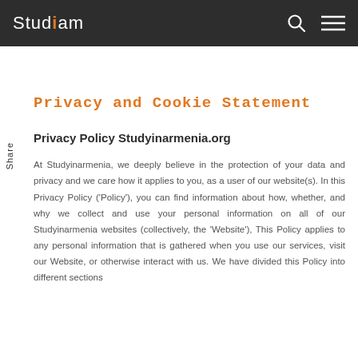Studiam [logo with search and menu icons]
Privacy and Cookie Statement
Privacy Policy Studyinarmenia.org
At Studyinarmenia, we deeply believe in the protection of your data and privacy and we care how it applies to you, as a user of our website(s). In this Privacy Policy ('Policy'), you can find information about how, whether, and why we collect and use your personal information on all of our Studyinarmenia websites (collectively, the 'Website'), This Policy applies to any personal information that is gathered when you use our services, visit our Website, or otherwise interact with us. We have divided this Policy into different sections